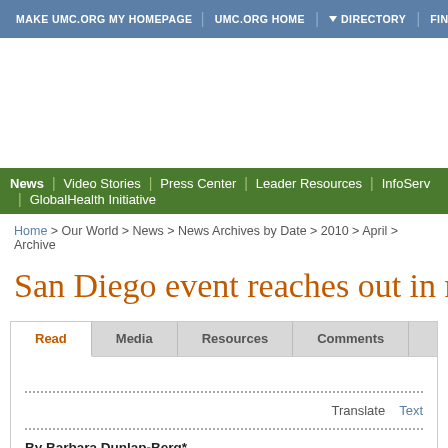MAKE UMC.ORG MY HOMEPAGE | UMC.ORG HOME | DIRECTORY | FIND A CHURCH | S
News | Video Stories | Press Center | Leader Resources | InfoServ | Global Health Initiative
Home > Our World > News > News Archives by Date > 2010 > April > Archive
San Diego event reaches out in m
Read | Media | Resources | Comments
Translate  Text
By Barbara Dunlap-Berg*